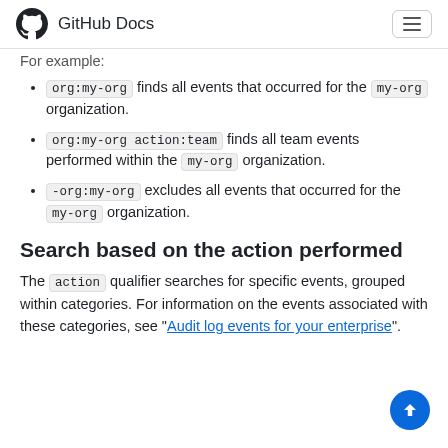GitHub Docs
For example:
org:my-org finds all events that occurred for the my-org organization.
org:my-org action:team finds all team events performed within the my-org organization.
-org:my-org excludes all events that occurred for the my-org organization.
Search based on the action performed
The action qualifier searches for specific events, grouped within categories. For information on the events associated with these categories, see "Audit log events for your enterprise".